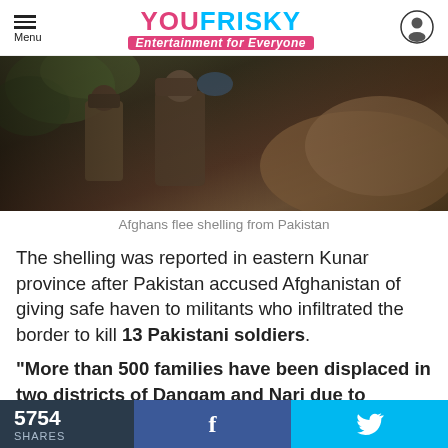YOU FRISKY - Entertainment for Everyone
[Figure (photo): Two people in military/camouflage gear in an outdoor terrain setting, likely Afghan soldiers or fighters in eastern Afghanistan.]
Afghans flee shelling from Pakistan
The shelling was reported in eastern Kunar province after Pakistan accused Afghanistan of giving safe haven to militants who infiltrated the border to kill 13 Pakistani soldiers.
“More than 500 families have been displaced in two districts of Dangam and Nari due to continued
5754 SHARES  f  